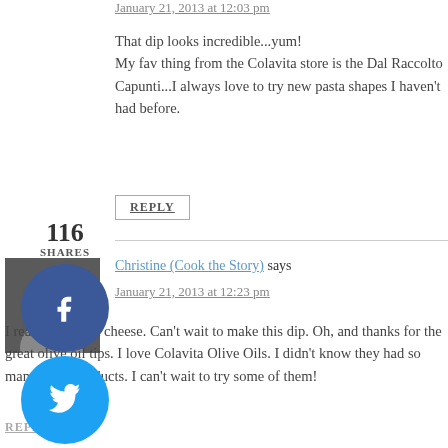January 21, 2013 at 12:03 pm
That dip looks incredible...yum! My fav thing from the Colavita store is the Dal Raccolto Capunti...I always love to try new pasta shapes I haven't had before.
REPLY
[Figure (illustration): Social share buttons: Facebook (blue circle), Twitter (light blue circle), Pinterest (red circle with 116 count), Yummly (orange circle). Share count: 116 SHARES.]
Christine (Cook the Story) says
January 21, 2013 at 12:23 pm
I really love feta cheese. Can't wait to make this dip. Oh, and thanks for the great olive oil tips. I love Colavita Olive Oils. I didn't know they had so many other products. I can't wait to try some of them!
REPLY